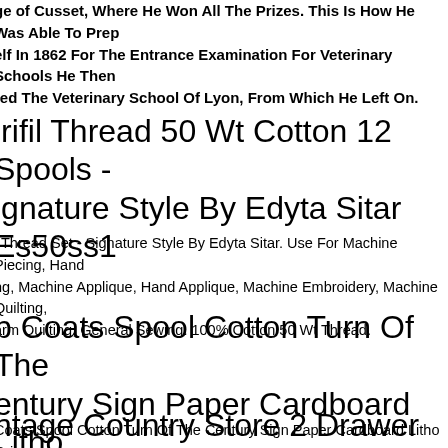ge of Cusset, Where He Won All The Prizes. This Is How He Was Able To Prepare Himself In 1862 For The Entrance Examination For Veterinary Schools He Then Entered The Veterinary School Of Lyon, From Which He Left On.
Aurifil Thread 50 Wt Cotton 12 Spools - Signature Style By Edyta Sitar Es50ss1
Aurifil Thread Set - Signature Style By Edyta Sitar. Use For Machine Piecing, Hand Quilting, Machine Applique, Hand Applique, Machine Embroidery, Machine Quilting, Long Arm Quilting, General Sewing. 100% Cotton 50 Wt Thread.
Antique Coats Spool Cotton Turn Of The Century Sign Paper Cardboard Litho Original
Antique Coats Spool Cotton Turn Of The Century Sign Paper Cardboard Litho Original
Vintage Country Store 2 Drawer Spool